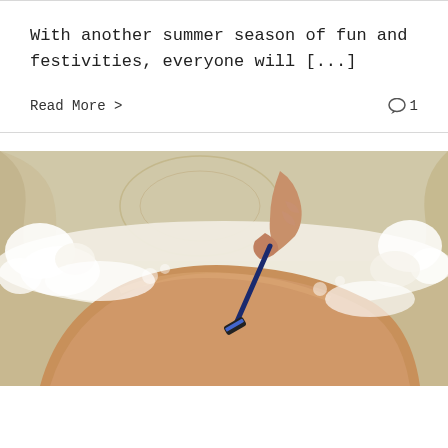With another summer season of fun and festivities, everyone will [...]
Read More >   💬 1
[Figure (photo): A person shaving their leg with a razor in a bubble bath. The image shows a tanned leg resting in foam, with a hand holding a blue razor. Background shows ornate wall/curtain decor.]